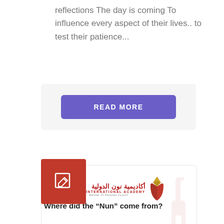reflections The day is coming To influence every aspect of their lives.. to test their patience...
READ MORE
[Figure (logo): Noon International Academy logo with Arabic text and emblem]
Where did the “Nun” come from?